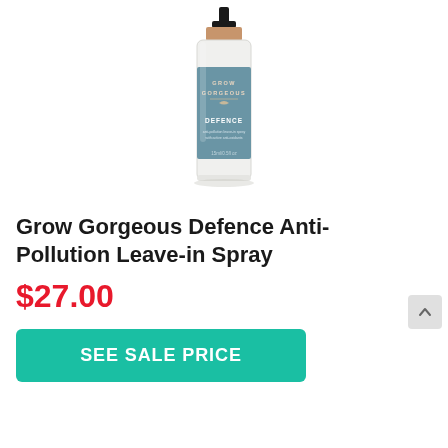[Figure (photo): Grow Gorgeous Defence Anti-Pollution Leave-in Spray product bottle with blue label, rose gold and black cap, on white background]
Grow Gorgeous Defence Anti-Pollution Leave-in Spray
$27.00
SEE SALE PRICE